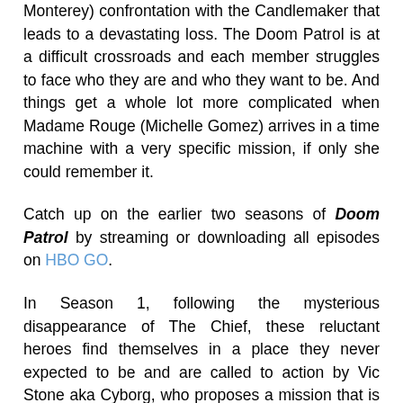Monterey) confrontation with the Candlemaker that leads to a devastating loss. The Doom Patrol is at a difficult crossroads and each member struggles to face who they are and who they want to be. And things get a whole lot more complicated when Madame Rouge (Michelle Gomez) arrives in a time machine with a very specific mission, if only she could remember it.
Catch up on the earlier two seasons of Doom Patrol by streaming or downloading all episodes on HBO GO.
In Season 1, following the mysterious disappearance of The Chief, these reluctant heroes find themselves in a place they never expected to be and are called to action by Vic Stone aka Cyborg, who proposes a mission that is hard to refuse. Season 1 also stars Alan Tudyk (“Powerless”, “Rogue One: A Star Wars Story Suburgatory”) as Mr. Nobody.